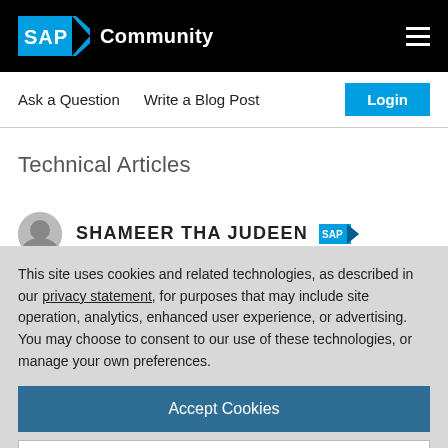SAP Community
Ask a Question   Write a Blog Post
Technical Articles
SHAMEER THA JUDEEN [SAP]
This site uses cookies and related technologies, as described in our privacy statement, for purposes that may include site operation, analytics, enhanced user experience, or advertising. You may choose to consent to our use of these technologies, or manage your own preferences.
Accept Cookies
More Information
Privacy Policy | Powered by: TrustArc
Period End Processing